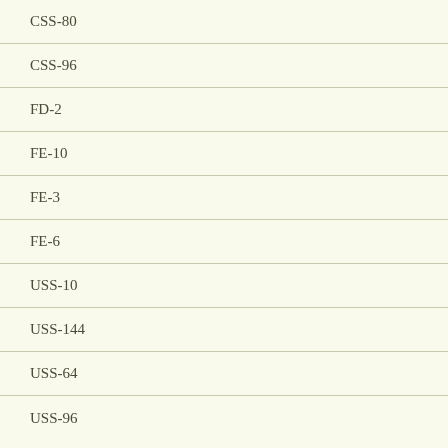CSS-80
CSS-96
FD-2
FE-10
FE-3
FE-6
USS-10
USS-144
USS-64
USS-96
Choice Vend
CV-102
CV-120
CV-136
CV-200